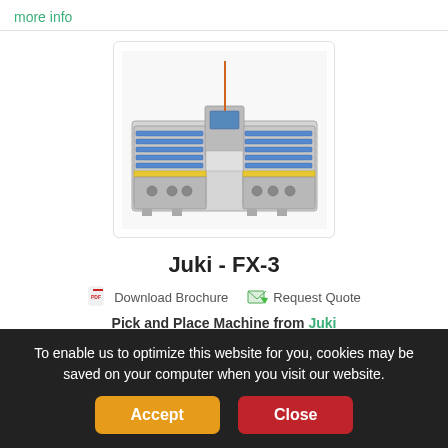more info
[Figure (photo): Juki FX-3 Pick and Place Machine — an industrial SMT placement machine with dual feeder banks and a central control panel]
Juki - FX-3
Download Brochure    Request Quote
Pick and Place Machine from Juki
FX-3 - Pick & Place Machine from Juki
Type: Auto
To enable us to optimize this website for you, cookies may be saved on your computer when you visit our website.